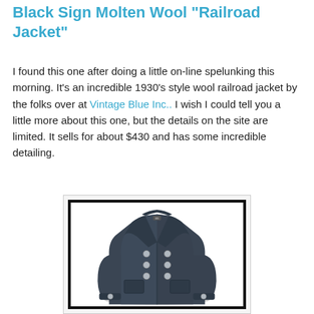Black Sign Molten Wool "Railroad Jacket"
I found this one after doing a little on-line spelunking this morning. It's an incredible 1930's style wool railroad jacket by the folks over at Vintage Blue Inc.. I wish I could tell you a little more about this one, but the details on the site are limited. It sells for about $430 and has some incredible detailing.
[Figure (photo): A dark navy/charcoal double-breasted wool railroad jacket with wide lapels, silver buttons, and welt pockets, displayed on a white background with a shadow.]